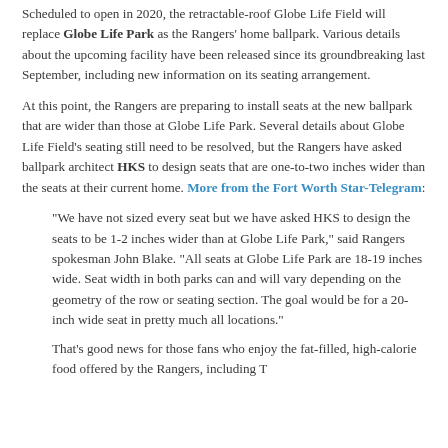Scheduled to open in 2020, the retractable-roof Globe Life Field will replace Globe Life Park as the Rangers' home ballpark. Various details about the upcoming facility have been released since its groundbreaking last September, including new information on its seating arrangement.
At this point, the Rangers are preparing to install seats at the new ballpark that are wider than those at Globe Life Park. Several details about Globe Life Field's seating still need to be resolved, but the Rangers have asked ballpark architect HKS to design seats that are one-to-two inches wider than the seats at their current home. More from the Fort Worth Star-Telegram:
“We have not sized every seat but we have asked HKS to design the seats to be 1-2 inches wider than at Globe Life Park,” said Rangers spokesman John Blake. “All seats at Globe Life Park are 18-19 inches wide. Seat width in both parks can and will vary depending on the geometry of the row or seating section. The goal would be for a 20-inch wide seat in pretty much all locations.”
That’s good news for those fans who enjoy the fat-filled, high-calorie food offered by the Rangers, including T...